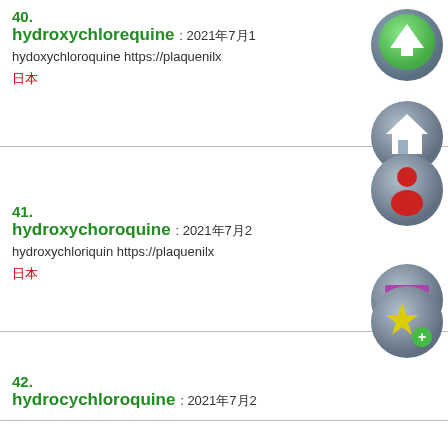40. hydroxychlorequine : 2021年7月1... hydoxychloroquine https://plaquenilx... 日本
41. hydroxychoroquine : 2021年7月2... hydroxychloriquin https://plaquenilx... 日本
42. hydrocychloroquine : 2021年7月2...